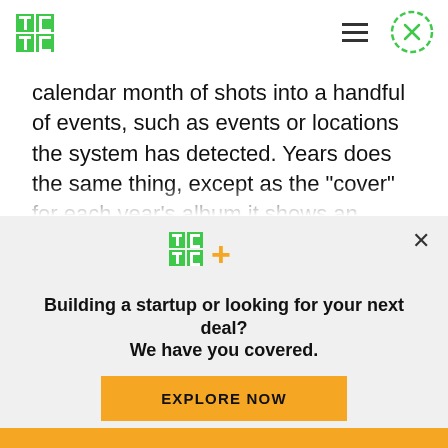TechCrunch logo and navigation header
calendar month of shots into a handful of events, such as events or locations the system has detected. Years does the same thing, except as the “cover” for each year’s album it shows an image from the same day or period — for example, if it’s someone’s birthday party, you’ll see shots from when you (hopefully) attended their party in years
[Figure (logo): TechCrunch TC+ logo in green and yellow]
Building a startup or looking for your next deal? We have you covered.
EXPLORE NOW